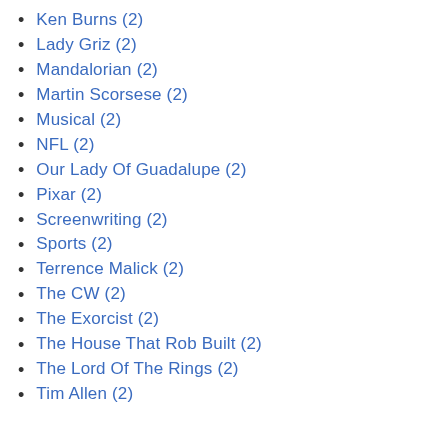Ken Burns (2)
Lady Griz (2)
Mandalorian (2)
Martin Scorsese (2)
Musical (2)
NFL (2)
Our Lady Of Guadalupe (2)
Pixar (2)
Screenwriting (2)
Sports (2)
Terrence Malick (2)
The CW (2)
The Exorcist (2)
The House That Rob Built (2)
The Lord Of The Rings (2)
Tim Allen (2)